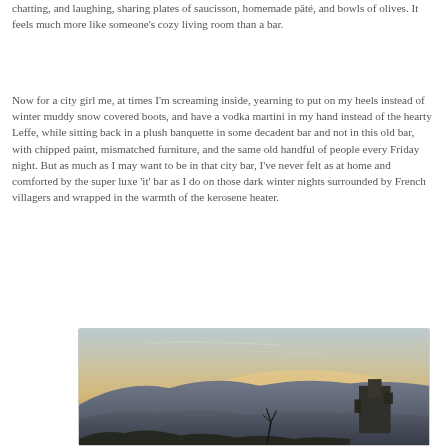chatting, and laughing, sharing plates of saucisson, homemade pâté, and bowls of olives. It feels much more like someone's cozy living room than a bar.
Now for a city girl me, at times I'm screaming inside, yearning to put on my heels instead of winter muddy snow covered boots, and have a vodka martini in my hand instead of the hearty Leffe, while sitting back in a plush banquette in some decadent bar and not in this old bar, with chipped paint, mismatched furniture, and the same old handful of people every Friday night. But as much as I may want to be in that city bar, I've never felt as at home and comforted by the super luxe 'it' bar as I do on those dark winter nights surrounded by French villagers and wrapped in the warmth of the kerosene heater.
[Figure (photo): A landscape photograph showing a sunset or dusk scene with rolling hills, a warm orange and blue sky, and a building or village silhouetted on the right side.]